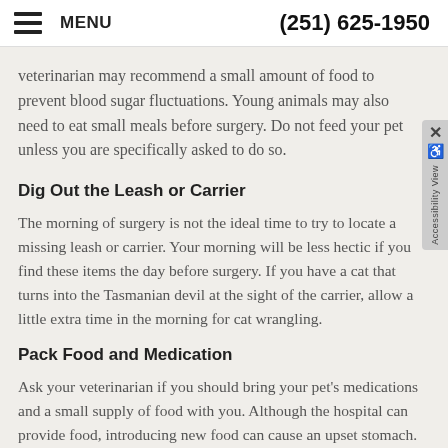MENU   (251) 625-1950
veterinarian may recommend a small amount of food to prevent blood sugar fluctuations. Young animals may also need to eat small meals before surgery. Do not feed your pet unless you are specifically asked to do so.
Dig Out the Leash or Carrier
The morning of surgery is not the ideal time to try to locate a missing leash or carrier. Your morning will be less hectic if you find these items the day before surgery. If you have a cat that turns into the Tasmanian devil at the sight of the carrier, allow a little extra time in the morning for cat wrangling.
Pack Food and Medication
Ask your veterinarian if you should bring your pet's medications and a small supply of food with you. Although the hospital can provide food, introducing new food can cause an upset stomach.